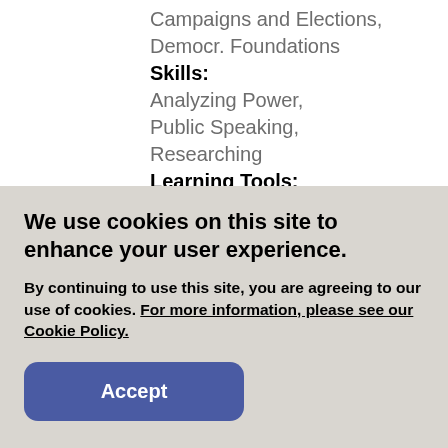Campaigns and Elections, Democr. Foundations
Skills:
Analyzing Power, Public Speaking, Researching
Learning Tools:
Graphic Organizer, Video
Unit:
Introducing Elections
We use cookies on this site to enhance your user experience.

By continuing to use this site, you are agreeing to our use of cookies. For more information, please see our Cookie Policy.

Accept